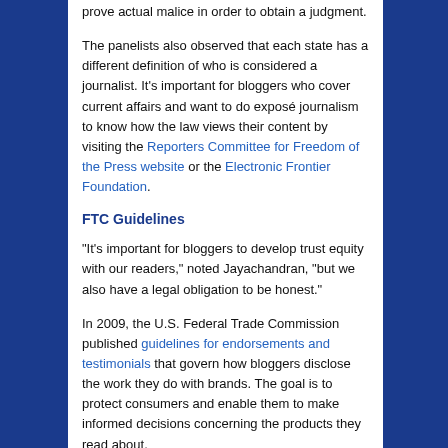prove actual malice in order to obtain a judgment.
The panelists also observed that each state has a different definition of who is considered a journalist. It's important for bloggers who cover current affairs and want to do exposé journalism to know how the law views their content by visiting the Reporters Committee for Freedom of the Press website or the Electronic Frontier Foundation.
FTC Guidelines
“It's important for bloggers to develop trust equity with our readers,” noted Jayachandran, “but we also have a legal obligation to be honest.”
In 2009, the U.S. Federal Trade Commission published guidelines for endorsements and testimonials that govern how bloggers disclose the work they do with brands. The goal is to protect consumers and enable them to make informed decisions concerning the products they read about.